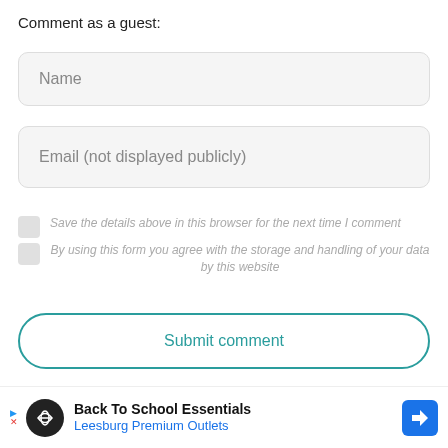Comment as a guest:
Name
Email (not displayed publicly)
Save the details above in this browser for the next time I comment
By using this form you agree with the storage and handling of your data by this website
Submit comment
[Figure (screenshot): Comment card with user avatar icon and three-dot menu]
Back To School Essentials Leesburg Premium Outlets